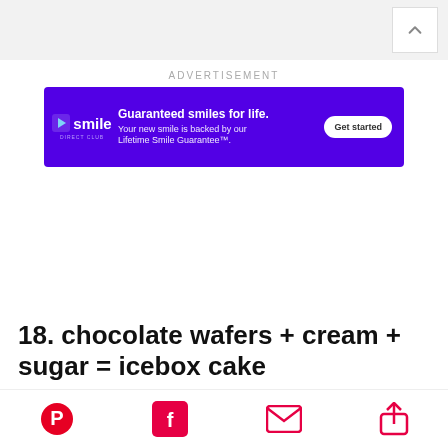[Figure (screenshot): Top navigation bar with light gray background and a white scroll-up button with a caret/chevron up arrow on the right side]
ADVERTISEMENT
[Figure (other): Advertisement banner for SmileDirectClub on a purple background. Logo shows 'smile' with a play-button icon and 'DIRECT CLUB' text. Headline: 'Guaranteed smiles for life.' Body: 'Your new smile is backed by our Lifetime Smile Guarantee™.' CTA button: 'Get started']
18. chocolate wafers + cream + sugar = icebox cake
[Figure (other): Bottom social sharing bar with Pinterest, Facebook, Email, and Share icons in red/pink color]